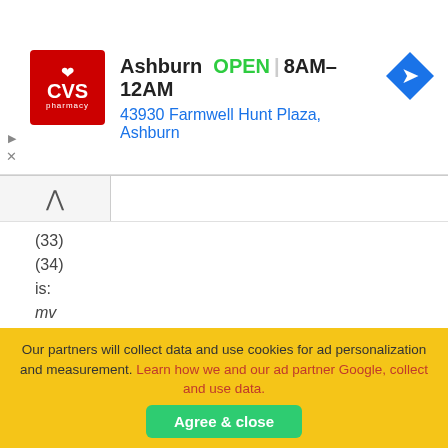[Figure (screenshot): CVS Pharmacy advertisement banner showing Ashburn location, OPEN status, hours 8AM-12AM, address 43930 Farmwell Hunt Plaza Ashburn, and a navigation arrow icon]
(33)
(34)
is:
reaches zero then K3 turns off with ZCS while i
Our partners will collect data and use cookies for ad personalization and measurement. Learn how we and our ad partner Google, collect and use data.
Agree & close